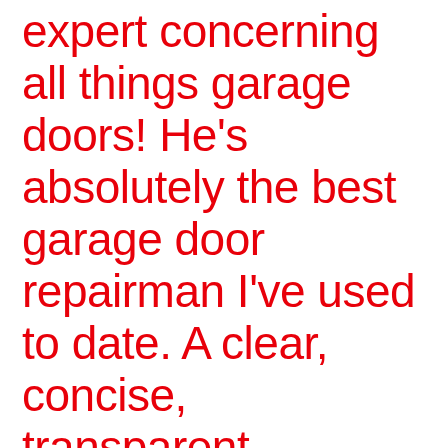expert concerning all things garage doors! He's absolutely the best garage door repairman I've used to date. A clear, concise, transparent business model with the warranty to back his work. I highly recommend this local, small business veteran for all future garage door